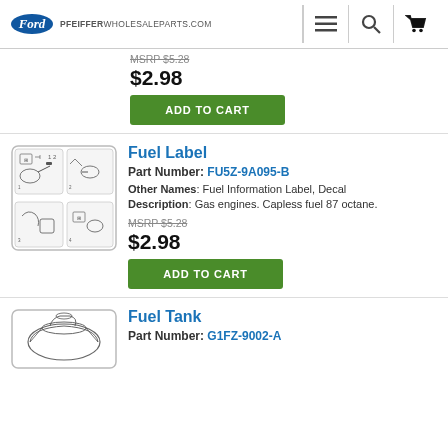PFEIFFERWHOLESALEPARTS.COM
MSRP $5.28
$2.98
ADD TO CART
Fuel Label
Part Number: FU5Z-9A095-B
Other Names: Fuel Information Label, Decal
Description: Gas engines. Capless fuel 87 octane.
MSRP $5.28
$2.98
ADD TO CART
Fuel Tank
Part Number: G1FZ-9002-A